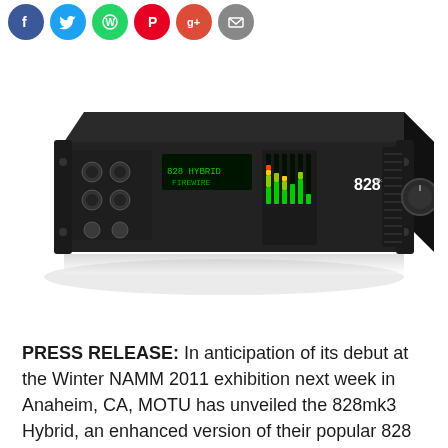[Figure (infographic): Row of six circular social media sharing icons: Facebook (blue), Twitter (light blue), WhatsApp (green), Pinterest (red), Google+ (red-orange), Email (gray)]
[Figure (photo): MOTU 828mk3 Hybrid audio interface — a black rackmount unit with LED meters, LCD display, and various connectors on the front panel, shown in a perspective view against a white background]
PRESS RELEASE: In anticipation of its debut at the Winter NAMM 2011 exhibition next week in Anaheim, CA, MOTU has unveiled the 828mk3 Hybrid, an enhanced version of their popular 828 audio